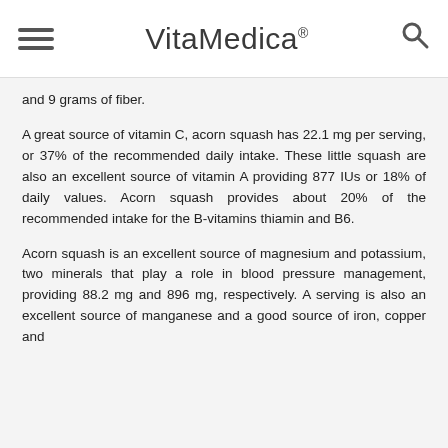VitaMedica®
and 9 grams of fiber.
A great source of vitamin C, acorn squash has 22.1 mg per serving, or 37% of the recommended daily intake. These little squash are also an excellent source of vitamin A providing 877 IUs or 18% of daily values. Acorn squash provides about 20% of the recommended intake for the B-vitamins thiamin and B6.
Acorn squash is an excellent source of magnesium and potassium, two minerals that play a role in blood pressure management, providing 88.2 mg and 896 mg, respectively. A serving is also an excellent source of manganese and a good source of iron, copper and